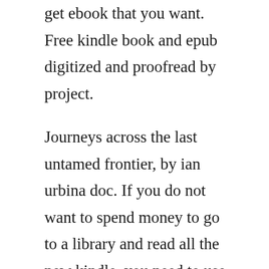get ebook that you want. Free kindle book and epub digitized and proofread by project.
Journeys across the last untamed frontier, by ian urbina doc. If you do not want to spend money to go to a library and read all the new kindle, you need to use the help of best free download ebook sites no sign up 2020. O is for outlaw isbn 9780330371957 pdf epub sue grafton. Hunt the beast down ebook by paul lederer rakuten kobo. Bookbub features limitedtime offers for the best free books in over twenty genres, from both toptier publishers and criticallyacclaimed. Outlaw is